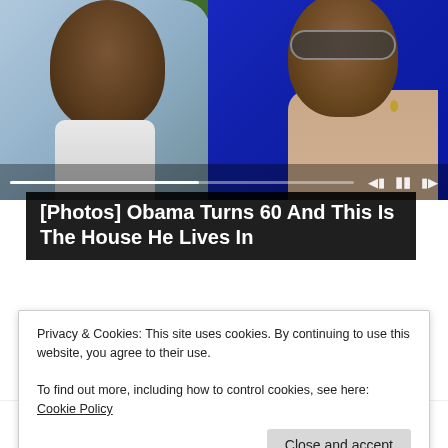[Figure (screenshot): Screenshot of a webpage showing a photo of two people outdoors with green foliage background, a video player progress bar and controls overlaid, with a title overlay '[Photos] Obama Turns 60 And This Is The House He Lives In' on dark background, sponsored by BuzzAura, a partially visible ad thumbnail with bold text 'Almost Nobody Has Passed This', a cookie consent banner, and a bottom ad strip 'Here Are Some Common']
[Photos] Obama Turns 60 And This Is The House He Lives In
Sponsored by BuzzAura
Privacy & Cookies: This site uses cookies. By continuing to use this website, you agree to their use.
To find out more, including how to control cookies, see here: Cookie Policy
Close and accept
Almost Nobody Has Passed This
Here Are Some Common